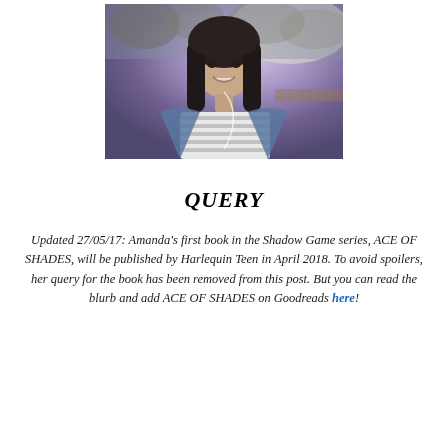[Figure (photo): Portrait photo of a young woman with long dark hair, smiling, wearing a striped shirt and denim jacket, outdoors with trees in the background.]
QUERY
Updated 27/05/17: Amanda’s first book in the Shadow Game series, ACE OF SHADES, will be published by Harlequin Teen in April 2018. To avoid spoilers, her query for the book has been removed from this post. But you can read the blurb and add ACE OF SHADES on Goodreads here!